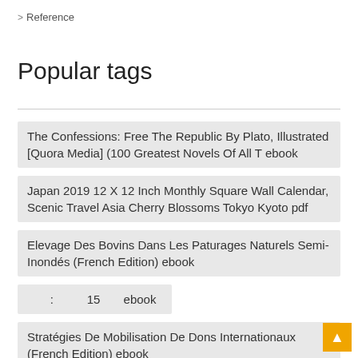> Reference
Popular tags
The Confessions: Free The Republic By Plato, Illustrated [Quora Media] (100 Greatest Novels Of All T ebook
Japan 2019 12 X 12 Inch Monthly Square Wall Calendar, Scenic Travel Asia Cherry Blossoms Tokyo Kyoto pdf
Elevage Des Bovins Dans Les Paturages Naturels Semi-Inondés (French Edition) ebook
: 15 ebook
Stratégies De Mobilisation De Dons Internationaux (French Edition) ebook
Tuning For Resonance And Sonority: Acoustical Applications For The Wind Band ebook